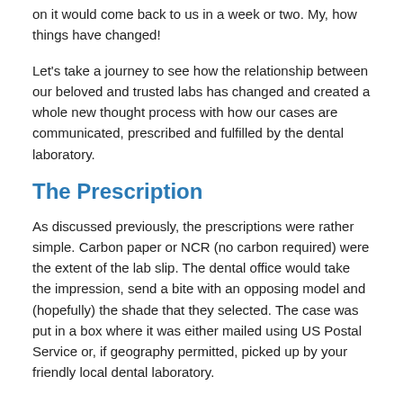on it would come back to us in a week or two. My, how things have changed!
Let's take a journey to see how the relationship between our beloved and trusted labs has changed and created a whole new thought process with how our cases are communicated, prescribed and fulfilled by the dental laboratory.
The Prescription
As discussed previously, the prescriptions were rather simple. Carbon paper or NCR (no carbon required) were the extent of the lab slip. The dental office would take the impression, send a bite with an opposing model and (hopefully) the shade that they selected. The case was put in a box where it was either mailed using US Postal Service or, if geography permitted, picked up by your friendly local dental laboratory.
Now, there is so much more information that can be submitted in a more expeditious manner. Most labs now have a portal link to their website where the dental office